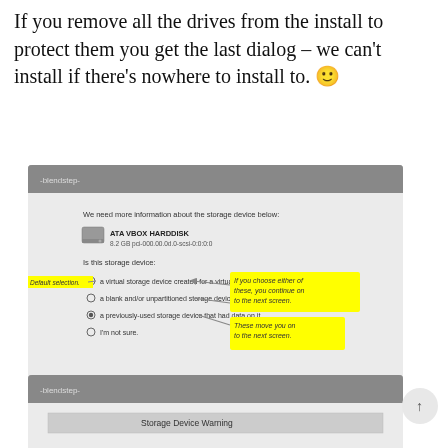If you remove all the drives from the install to protect them you get the last dialog – we can't install if there's nowhere to install to. 🙂
[Figure (screenshot): Ubuntu installer screenshot showing storage device type dialog with radio buttons: 'a virtual storage device created for a virtual machine', 'a blank and/or unpartitioned storage device', 'a previously-used storage device that had data on it', 'I'm not sure.' Yellow annotation boxes pointing to options explaining navigation behavior. Yellow label 'Default selection.' pointing to virtual machine option. Back and Next buttons at bottom right.]
[Figure (screenshot): Bottom portion of Ubuntu installer showing Storage Device Warning dialog header, partially visible.]